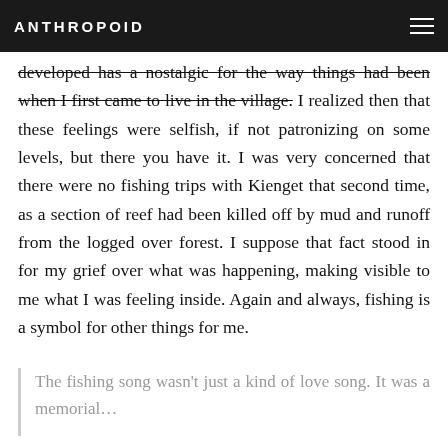ANTHROPOID
developed has a nostalgic for the way things had been when I first came to live in the village. I realized then that these feelings were selfish, if not patronizing on some levels, but there you have it. I was very concerned that there were no fishing trips with Kienget that second time, as a section of reef had been killed off by mud and runoff from the logged over forest. I suppose that fact stood in for my grief over what was happening, making visible to me what I was feeling inside. Again and always, fishing is a symbol for other things for me.
The fishing song wasn't just a kind of love song. It was a memorial…